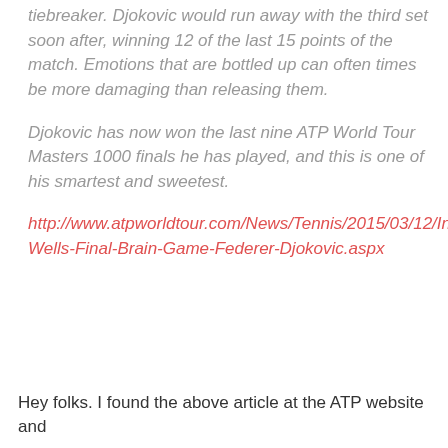tiebreaker. Djokovic would run away with the third set soon after, winning 12 of the last 15 points of the match. Emotions that are bottled up can often times be more damaging than releasing them.
Djokovic has now won the last nine ATP World Tour Masters 1000 finals he has played, and this is one of his smartest and sweetest.
http://www.atpworldtour.com/News/Tennis/2015/03/12/Indian-Wells-Final-Brain-Game-Federer-Djokovic.aspx
Hey folks. I found the above article at the ATP website and